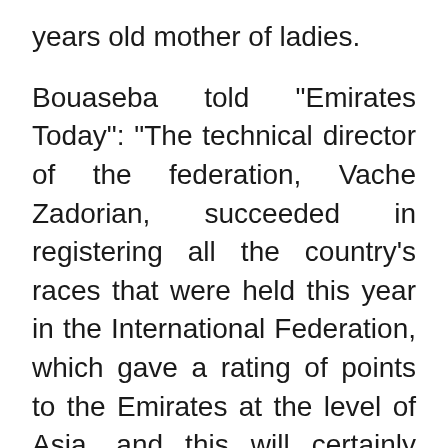years old mother of ladies.
Bouaseba told "Emirates Today": "The technical director of the federation, Vache Zadorian, succeeded in registering all the country's races that were held this year in the International Federation, which gave a rating of points to the Emirates at the level of Asia, and this will certainly serve the UAE team in order to reach the championships. world, and to the French Olympics, where the continental championships are treated as points, to maintain the country's classification in general, and the cyclist's classification in particular, and here we are talking about Youssef Mirza specifically in the adult category."